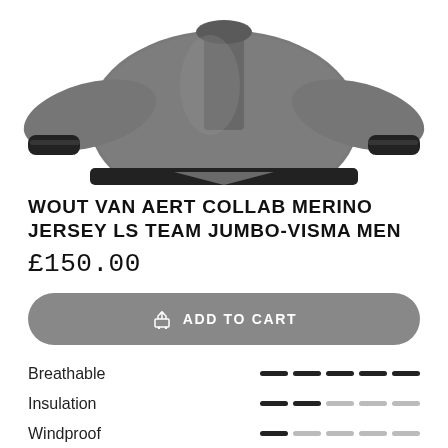[Figure (photo): Grey long-sleeve cycling jersey (Wout Van Aert Collab Merino Jersey LS Team Jumbo-Visma Men) shown from front/back, cropped at top, showing sleeves and body with black cuffs and hem band]
WOUT VAN AERT COLLAB MERINO JERSEY LS TEAM JUMBO-VISMA MEN
£150.00
ADD TO CART
Breathable
Insulation
Windproof